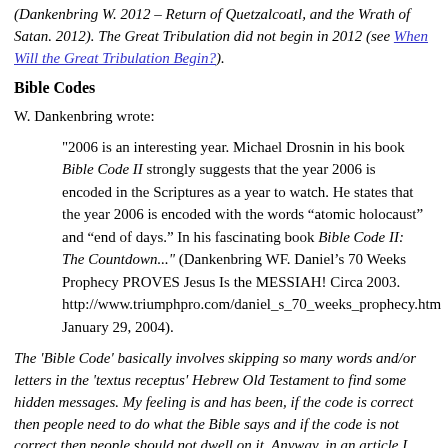(Dankenbring W. 2012 – Return of Quetzalcoatl, and the Wrath of Satan. 2012). The Great Tribulation did not begin in 2012 (see When Will the Great Tribulation Begin?).
Bible Codes
W. Dankenbring wrote:
"2006 is an interesting year. Michael Drosnin in his book Bible Code II strongly suggests that the year 2006 is encoded in the Scriptures as a year to watch. He states that the year 2006 is encoded with the words “atomic holocaust” and “end of days.” In his fascinating book Bible Code II: The Countdown..." (Dankenbring WF. Daniel’s 70 Weeks Prophecy PROVES Jesus Is the MESSIAH! Circa 2003. http://www.triumphpro.com/daniel_s_70_weeks_prophecy.htm January 29, 2004).
The 'Bible Code' basically involves skipping so many words and/or letters in the 'textus receptus' Hebrew Old Testament to find some hidden messages. My feeling is and has been, if the code is correct then people need to do what the Bible says and if the code is not correct then people should not dwell on it. Anyway, in an article I was mailed in early December 2003 titled The Bible Code War (also by Michael Brosnin), it states that the Bible code indicates